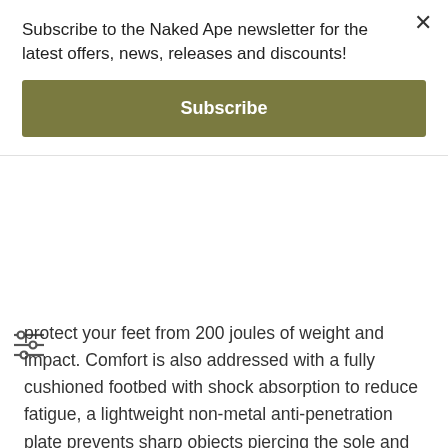Subscribe to the Naked Ape newsletter for the latest offers, news, releases and discounts!
Subscribe
protect your feet from 200 joules of weight and impact. Comfort is also addressed with a fully cushioned footbed with shock absorption to reduce fatigue, a lightweight non-metal anti-penetration plate prevents sharp objects piercing the sole and causing injury to the foot. The rubber outsole provides (SRC) slip resistance, (HI) insulation, (HRO) heat, and oil resistance. When you spend many hours of your workday standing, your feet will expand over time, therefore Carhartt has engineered the fit to allow space for your feet to remain comfortable. Expect Carhartt footwear to fit a half size larger than your standard footwear size.